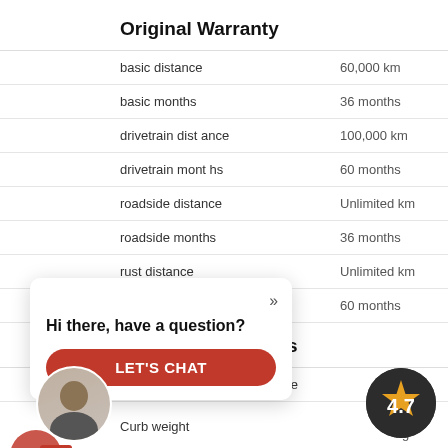Original Warranty
|  |  |
| --- | --- |
| basic distance | 60,000 km |
| basic months | 36 months |
| drivetrain distance | 100,000 km |
| drivetrain months | 60 months |
| roadside distance | Unlimited km |
| roadside months | 36 months |
| rust distance | Unlimited km |
| rust months | 60 months |
…cities
|  |  |
| --- | --- |
| …s in place | 428 L |
| Curb weight | 1,263 kg |
| PA interior volume | 2,769 L |
| l Capacity | 47 L |
| …ross vehicle weight | 1,695 kg |
| …rance | 108 mm |
| Max cargo capacity | 428 L |
Hi there, have a question?
LET'S CHAT
LIVE
Customer Service Rep
4.7